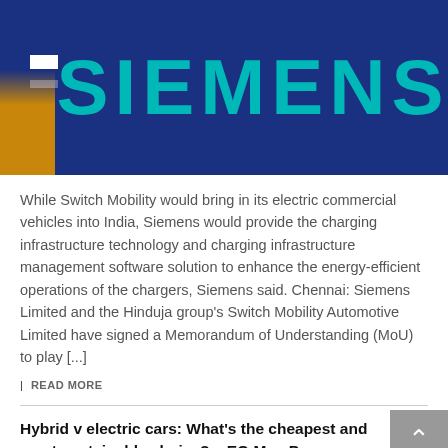[Figure (photo): A Siemens-branded blue train with the SIEMENS logo visible in large teal letters on the side, with a yellow stripe at the left edge of the train.]
While Switch Mobility would bring in its electric commercial vehicles into India, Siemens would provide the charging infrastructure technology and charging infrastructure management software solution to enhance the energy-efficient operations of the chargers, Siemens said. Chennai: Siemens Limited and the Hinduja group's Switch Mobility Automotive Limited have signed a Memorandum of Understanding (MoU) to play [...]
| READ MORE
Hybrid v electric cars: What's the cheapest and most sustainable choice? – EQ Mag Pro